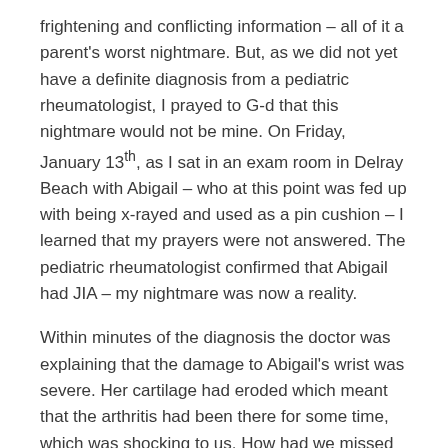frightening and conflicting information – all of it a parent's worst nightmare.  But, as we did not yet have a definite diagnosis from a pediatric rheumatologist, I prayed to G-d that this nightmare would not be mine.  On Friday, January 13th, as I sat in an exam room in Delray Beach with Abigail – who at this point was fed up with being x-rayed and used as a pin cushion – I learned that my prayers were not answered.  The pediatric rheumatologist confirmed that Abigail had JIA – my nightmare was now a reality.
Within minutes of the diagnosis the doctor was explaining that the damage to Abigail's wrist was severe.  Her cartilage had eroded which meant that the arthritis had been there for some time, which was shocking to us.  How had we missed it?  How had it not bothered Abigail!?  There was a risk of permanent damage to her right wrist that could result in permanent lack of